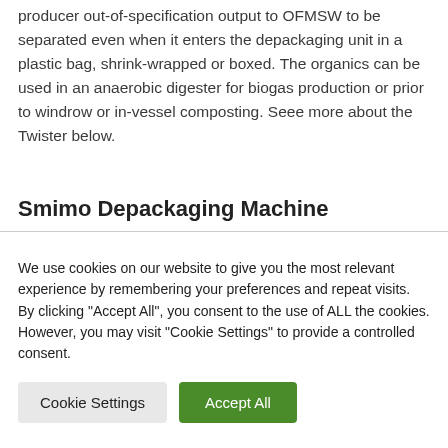food waste to be processed from producer. food producer out-of-specification output to OFMSW to be separated even when it enters the depackaging unit in a plastic bag, shrink-wrapped or boxed. The organics can be used in an anaerobic digester for biogas production or prior to windrow or in-vessel composting. Seee more about the Twister below.
Smimo Depackaging Machine
We use cookies on our website to give you the most relevant experience by remembering your preferences and repeat visits. By clicking "Accept All", you consent to the use of ALL the cookies. However, you may visit "Cookie Settings" to provide a controlled consent.